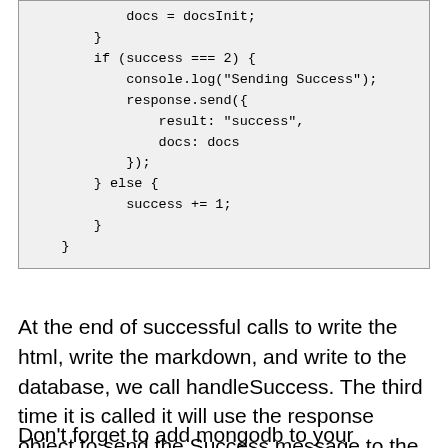docs = docsInit;
        }
        if (success === 2) {
            console.log("Sending Success");
            response.send({
                result: "success",
                docs: docs
            });
        } else {
            success += 1;
        }
    }
At the end of successful calls to write the html, write the markdown, and write to the database, we call handleSuccess. The third time it is called it will use the response object to send the Success message to the client.
Don't forget to add mongodb to your